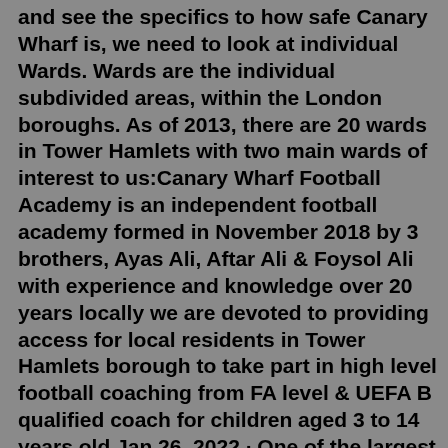and see the specifics to how safe Canary Wharf is, we need to look at individual Wards. Wards are the individual subdivided areas, within the London boroughs. As of 2013, there are 20 wards in Tower Hamlets with two main wards of interest to us:Canary Wharf Football Academy is an independent football academy formed in November 2018 by 3 brothers, Ayas Ali, Aftar Ali & Foysol Ali with experience and knowledge over 20 years locally we are devoted to providing access for local residents in Tower Hamlets borough to take part in high level football coaching from FA level & UEFA B qualified coach for children aged 3 to 14 years old.Jan 26, 2022 · One of the largest changes in the Quay House site has been a pivot away from residential development towards hospitality. Tower Hamlets borough have a target of providing an additional 5,000 rooms for visitor accommodation by 2040, and the One South Quay development helps them meet this target, and expands on the hotel offering in Canary Wharf. Nov